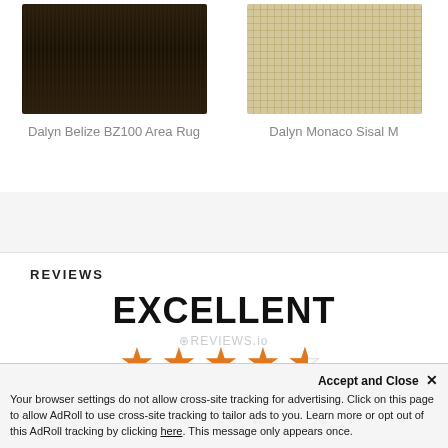[Figure (photo): Dark brown shaggy area rug (Dalyn Belize BZ100)]
Dalyn Belize BZ100 Area Rug
[Figure (photo): Light tan/beige sisal weave rug (Dalyn Monaco Sisal M)]
Dalyn Monaco Sisal M
REVIEWS
EXCELLENT
[Figure (other): 4.5 orange stars rating display]
4.72 Average  2865 Reviews
REVIEWS.io watermark
Accept and Close ✕
Your browser settings do not allow cross-site tracking for advertising. Click on this page to allow AdRoll to use cross-site tracking to tailor ads to you. Learn more or opt out of this AdRoll tracking by clicking here. This message only appears once.